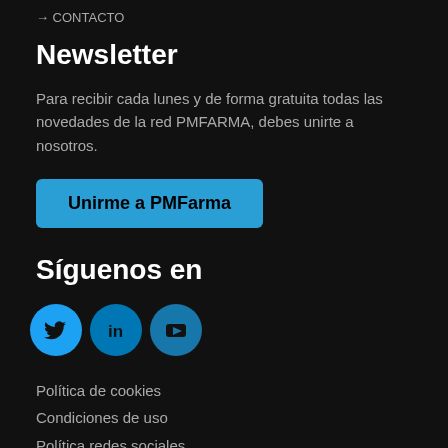→ CONTACTO
Newsletter
Para recibir cada lunes y de forma gratuita todas las novedades de la red PMFARMA, debes unirte a nosotros.
Unirme a PMFarma
Síguenos en
[Figure (other): Three social media icons: Twitter (blue bird), LinkedIn (blue 'in'), YouTube (blue play button)]
Política de cookies
Condiciones de uso
Política redes sociales
Condiciones generales